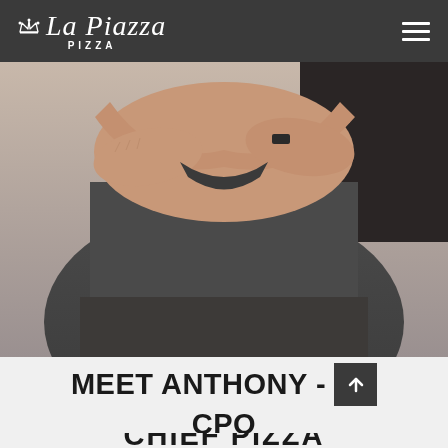La Piazza Pizza
[Figure (photo): A man with arms crossed wearing a dark gray t-shirt, shown from mid-torso up. The photo is cropped showing the torso and crossed arms prominently.]
MEET ANTHONY - CPO
CHIEF PIZZA